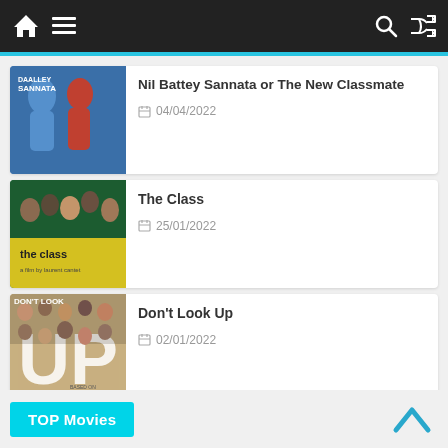Navigation bar with home, menu, search, and shuffle icons
[Figure (screenshot): Movie poster thumbnail for Nil Battey Sannata showing two dancers in blue and red costume]
Nil Battey Sannata or The New Classmate
04/04/2022
[Figure (screenshot): Movie poster thumbnail for The Class showing students and teacher with yellow title text]
The Class
25/01/2022
[Figure (screenshot): Movie poster thumbnail for Don't Look Up showing large UP letters with faces]
Don't Look Up
02/01/2022
TOP Movies